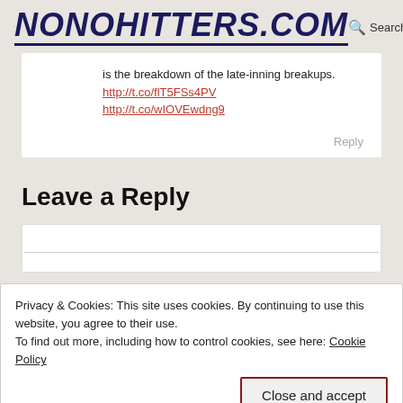NONOHITTERS.COM
is the breakdown of the late-inning breakups. http://t.co/flT5FSs4PV http://t.co/wIOVEwdng9
Reply
Leave a Reply
Privacy & Cookies: This site uses cookies. By continuing to use this website, you agree to their use.
To find out more, including how to control cookies, see here: Cookie Policy
Close and accept